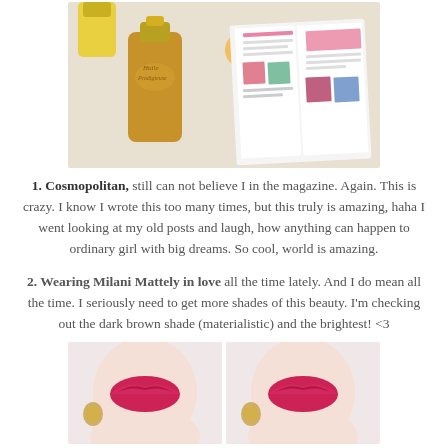[Figure (photo): Flat lay photo showing a gold bottle of Huile Prodigieuse oil, beauty products, pink compact, and an open Cosmopolitan magazine spread on a white background.]
1. Cosmopolitan, still can not believe I in the magazine. Again. This is crazy. I know I wrote this too many times, but this truly is amazing, haha I went looking at my old posts and laugh, how anything can happen to ordinary girl with big dreams. So cool, world is amazing.
2. Wearing Milani Mattely in love all the time lately. And I do mean all the time. I seriously need to get more shades of this beauty. I'm checking out the dark brown shade (materialistic) and the brightest! <3
[Figure (photo): Two side-by-side close-up photos of a woman with bright pink/red lipstick applied, wearing gold earrings, showing the lip color swatch.]